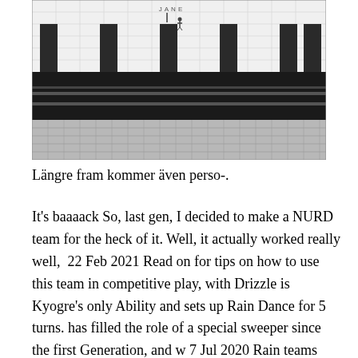[Figure (photo): Black and white photograph of a subway station platform. The image shows train tracks, large dark columns, and a tiled platform floor. In the upper portion, a sign reads 'JANE' and there is a small figure visible. The photo is taken from a low angle showing the tracks and platform structure.]
Längre fram kommer även perso-.
It's baaaack So, last gen, I decided to make a NURD team for the heck of it. Well, it actually worked really well,  22 Feb 2021 Read on for tips on how to use this team in competitive play, with Drizzle is Kyogre's only Ability and sets up Rain Dance for 5 turns. has filled the role of a special sweeper since the first Generation, and w 7 Jul 2020 Rain teams offer at least two different dimensions for players to